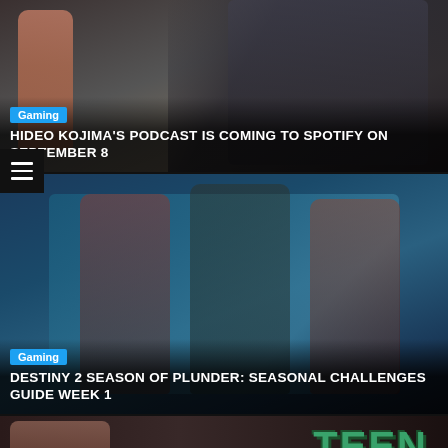[Figure (photo): Gaming article hero image showing a person in a sci-fi setting with a bottle in foreground]
Gaming
HIDEO KOJIMA'S PODCAST IS COMING TO SPOTIFY ON SEPTEMBER 8
[Figure (photo): Destiny 2 Season of Plunder characters in game art, three armored pirate-themed guardians]
Gaming
DESTINY 2 SEASON OF PLUNDER: SEASONAL CHALLENGES GUIDE WEEK 1
[Figure (photo): Teen Mom article image showing a woman's face and the Teen Mom logo]